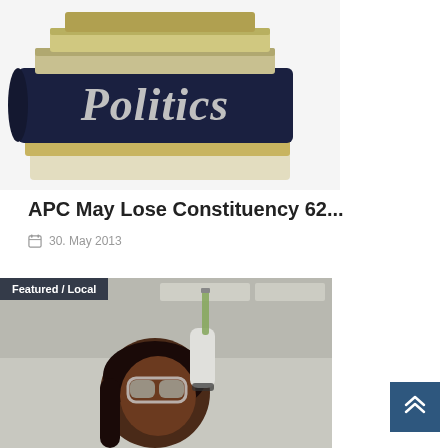[Figure (photo): Stack of books with the word 'Politics' on the spine of the front dark book, against a light background]
APC May Lose Constituency 62...
30. May 2013
[Figure (photo): Photo of a woman wearing lab safety goggles holding a test tube, with a 'Featured / Local' label overlay in the top-left corner]
[Figure (other): Scroll-to-top button with double chevron up arrows on dark blue background]